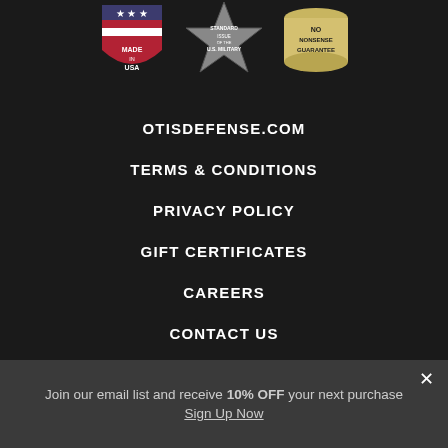[Figure (illustration): Three badges/seals: 'Made in USA' shield with stars and stripes, 'Standard Issue of the U.S. Military' star badge, and 'No Nonsense Guarantee' cylindrical badge]
OTISDEFENSE.COM
TERMS & CONDITIONS
PRIVACY POLICY
GIFT CERTIFICATES
CAREERS
CONTACT US
Join our email list and receive 10% OFF your next purchase
Sign Up Now